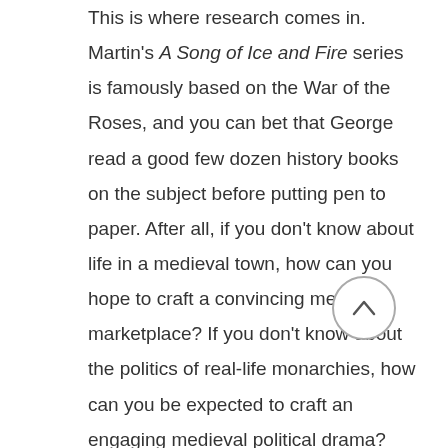This is where research comes in. Martin's A Song of Ice and Fire series is famously based on the War of the Roses, and you can bet that George read a good few dozen history books on the subject before putting pen to paper. After all, if you don't know about life in a medieval town, how can you hope to craft a convincing medieval marketplace? If you don't know about the politics of real-life monarchies, how can you be expected to craft an engaging medieval political drama?